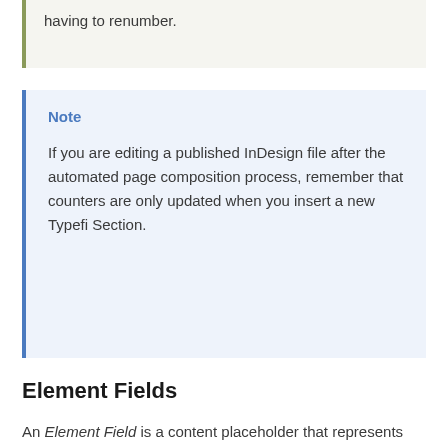having to renumber.
Note
If you are editing a published InDesign file after the automated page composition process, remember that counters are only updated when you insert a new Typefi Section.
Element Fields
An Element Field is a content placeholder that represents the position and formatting of metadata within a Typefi Element. Element Fields are commonly used for inserting